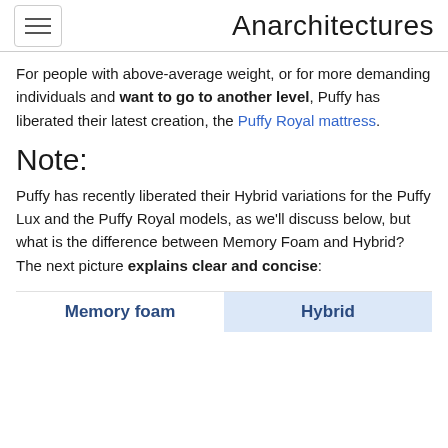Anarchitectures
For people with above-average weight, or for more demanding individuals and want to go to another level, Puffy has liberated their latest creation, the Puffy Royal mattress.
Note:
Puffy has recently liberated their Hybrid variations for the Puffy Lux and the Puffy Royal models, as we'll discuss below, but what is the difference between Memory Foam and Hybrid? The next picture explains clear and concise:
[Figure (other): Comparison table header showing two columns: Memory foam and Hybrid, with Hybrid column highlighted in light blue]